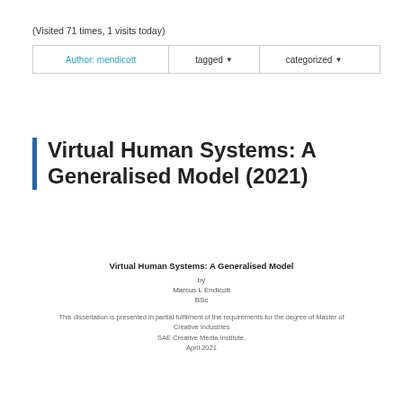(Visited 71 times, 1 visits today)
Author: mendicott	tagged ▾	categorized ▾
Virtual Human Systems: A Generalised Model (2021)
Virtual Human Systems: A Generalised Model
by
Marcus L Endicott
BSc
This dissertation is presented in partial fulfilment of the requirements for the degree of Master of Creative Industries
SAE Creative Media Institute,
April 2021